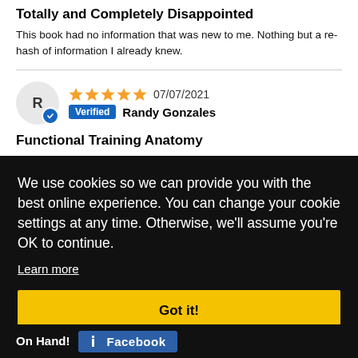Totally and Completely Disappointed
This book had no information that was new to me. Nothing but a re-hash of information I already knew.
R  ★★★★★  07/07/2021  Verified  Randy Gonzales
Functional Training Anatomy
Excellent book for Athletic Trainers in planning rehabilitation activities. Excellent for each phase of
We use cookies so we can provide you with the best online experience. You can change your cookie settings at any time. Otherwise, we'll assume you're OK to continue.
Learn more
Got it!
On Hand!